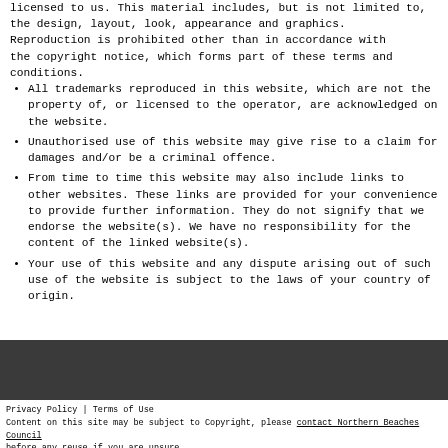licensed to us. This material includes, but is not limited to, the design, layout, look, appearance and graphics. Reproduction is prohibited other than in accordance with the copyright notice, which forms part of these terms and conditions.
All trademarks reproduced in this website, which are not the property of, or licensed to the operator, are acknowledged on the website.
Unauthorised use of this website may give rise to a claim for damages and/or be a criminal offence.
From time to time this website may also include links to other websites. These links are provided for your convenience to provide further information. They do not signify that we endorse the website(s). We have no responsibility for the content of the linked website(s).
Your use of this website and any dispute arising out of such use of the website is subject to the laws of your country of origin.
Privacy Policy | Terms of Use
Content on this site may be subject to Copyright, please contact Northern Beaches Council before any reuse if you are unsure.
RECOLLECT is Copyright © 2011-2022 by Recollect Limited | Page rendered in 0.2840 seconds